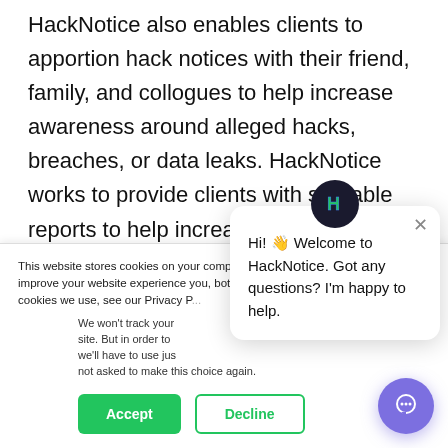HackNotice also enables clients to apportion hack notices with their friend, family, and collogues to help increase awareness around alleged hacks, breaches, or data leaks. HackNotice works to provide clients with sharable reports to help increase the security of our clients personal network. The certificate of the people that our clients interact with directly impacts the layer of security of our clients. Increased exposure
This website stores cookies on your computer. These are used to improve your website experience you, both on this website and through cookies we use, see our Privacy P...
We won't track your site. But in order to we'll have to use jus not asked to make this choice again.
Hi! 👋 Welcome to HackNotice. Got any questions? I'm happy to help.